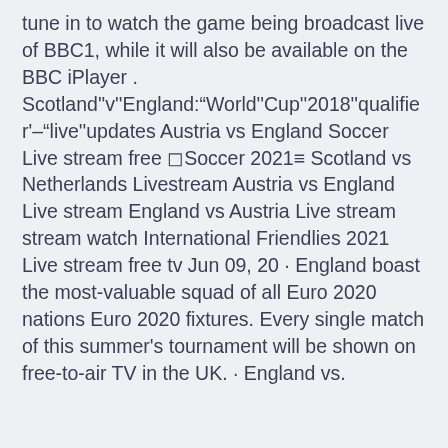tune in to watch the game being broadcast live of BBC1, while it will also be available on the BBC iPlayer . Scotland''v''England:"World''Cup''2018''qualifier'–''live''updates Austria vs England Soccer Live stream free ⬜Soccer 2021≡ Scotland vs Netherlands Livestream Austria vs England Live stream England vs Austria Live stream stream watch International Friendlies 2021 Live stream free tv Jun 09, 20 · England boast the most-valuable squad of all Euro 2020 nations Euro 2020 fixtures. Every single match of this summer's tournament will be shown on free-to-air TV in the UK. · England vs.